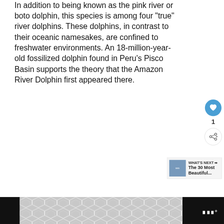In addition to being known as the pink river or boto dolphin, this species is among four “true” river dolphins. These dolphins, in contrast to their oceanic namesakes, are confined to freshwater environments. An 18-million-year-old fossilized dolphin found in Peru’s Pisco Basin supports the theory that the Amazon River Dolphin first appeared there.
[Figure (screenshot): Like button (heart icon) in blue circle with count of 1, and share button below it]
[Figure (screenshot): What's Next promo box with thumbnail image and text 'The 30 Most Beautiful...']
[Figure (screenshot): Bottom bar with dark background, geometric pattern, and logo]